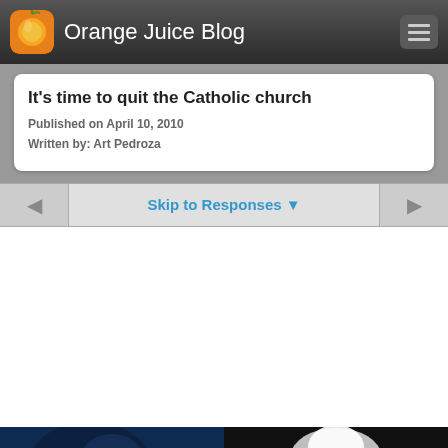Orange Juice Blog
It's time to quit the Catholic church
Published on April 10, 2010
Written by: Art Pedroza
Skip to Responses ▼
[Figure (photo): Two photos visible at the bottom of the page: left photo appears to be a person in dark blue/navy lighting, right photo appears to be a person or object in white/light tones against black background]